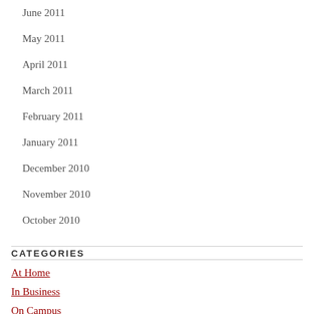June 2011
May 2011
April 2011
March 2011
February 2011
January 2011
December 2010
November 2010
October 2010
CATEGORIES
At Home
In Business
On Campus
On The Farm